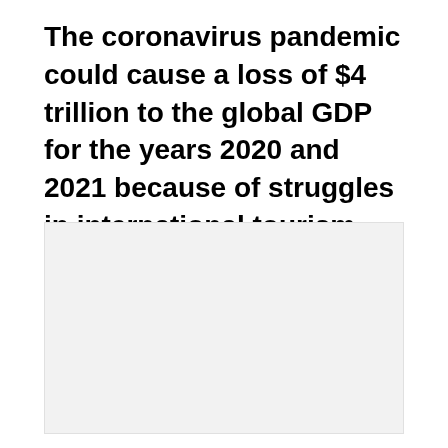The coronavirus pandemic could cause a loss of $4 trillion to the global GDP for the years 2020 and 2021 because of struggles in international tourism. Losses are steeper than forecasted. Developing countries suffer the most.
[Figure (other): Empty light grey placeholder box representing an image or chart area]